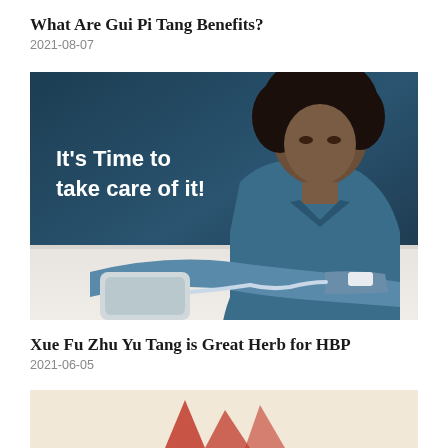What Are Gui Pi Tang Benefits?
2021-08-07
[Figure (photo): A woman in blue scrubs sitting at a white table, measuring her blood pressure with a monitor on her arm. Dark blue background. Text overlay reads: It's Time to take care of it!]
Xue Fu Zhu Yu Tang is Great Herb for HBP
2021-06-05
[Figure (photo): Partial view of a beige/cream background image, appears to be related to herbs or Chinese medicine with red elements visible at bottom.]